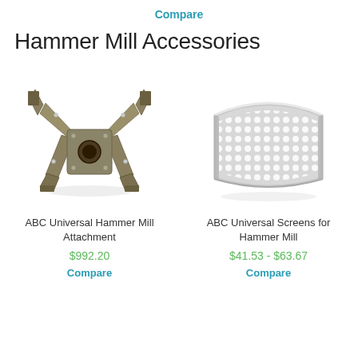Compare
Hammer Mill Accessories
[Figure (photo): ABC Universal Hammer Mill Attachment - a four-armed metal rotor with a central hole and bolts]
ABC Universal Hammer Mill Attachment
$992.20
Compare
[Figure (photo): ABC Universal Screens for Hammer Mill - a curved perforated metal screen/mesh]
ABC Universal Screens for Hammer Mill
$41.53 - $63.67
Compare